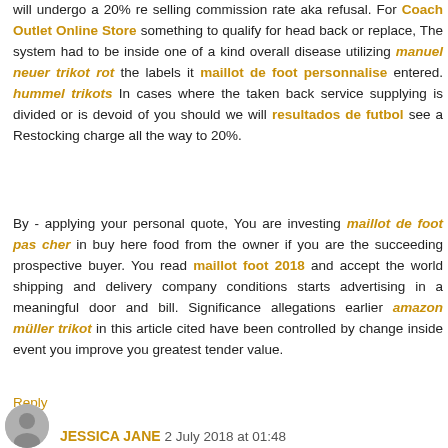will undergo a 20% re selling commission rate aka refusal. For Coach Outlet Online Store something to qualify for head back or replace, The system had to be inside one of a kind overall disease utilizing manuel neuer trikot rot the labels it maillot de foot personnalise entered. hummel trikots In cases where the taken back service supplying is divided or is devoid of you should we will resultados de futbol see a Restocking charge all the way to 20%.
By - applying your personal quote, You are investing maillot de foot pas cher in buy here food from the owner if you are the succeeding prospective buyer. You read maillot foot 2018 and accept the world shipping and delivery company conditions starts advertising in a meaningful door and bill. Significance allegations earlier amazon müller trikot in this article cited have been controlled by change inside event you improve you greatest tender value.
Reply
JESSICA JANE  2 July 2018 at 01:48